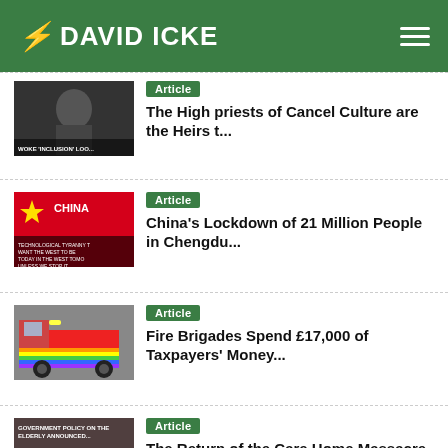DAVID ICKE
Article – The High priests of Cancel Culture are the Heirs t...
Article – China's Lockdown of 21 Million People in Chengdu...
Article – Fire Brigades Spend £17,000 of Taxpayers' Money...
Article – The Return of the Care Home Massacre
Article – Names Of The Bilderbergers Who've